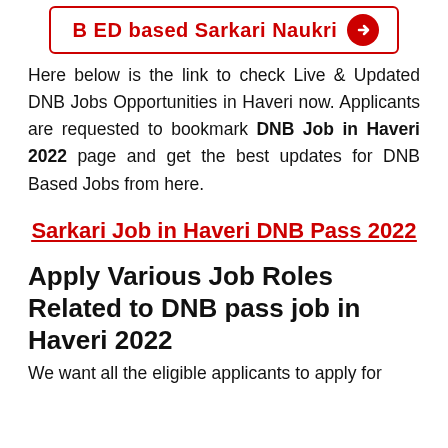[Figure (other): Button/link with red border and arrow: 'B ED based Sarkari Naukri' with red right-arrow circle]
Here below is the link to check Live & Updated DNB Jobs Opportunities in Haveri now. Applicants are requested to bookmark DNB Job in Haveri 2022 page and get the best updates for DNB Based Jobs from here.
Sarkari Job in Haveri DNB Pass 2022
Apply Various Job Roles Related to DNB pass job in Haveri 2022
We want all the eligible applicants to apply for